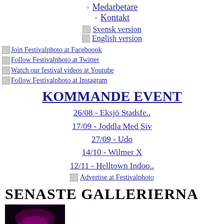Medarbetare
Kontakt
Svensk version
English version
Join Festivalphoto at Faceboook
Follow Festivalphoto at Twitter
Watch our festival videos at Youtube
Follow Festivalphoto at Instagram
KOMMANDE EVENT
26/08 - Eksjö Stadsfe..
17/09 - Joddla Med Siv
27/09 - Udo
14/10 - Wilmer X
12/11 - Helltown Indoo..
Advertise at Festivalphoto
SENASTE GALLERIERNA
[Figure (photo): Dark concert photo with pink/purple stage lighting]